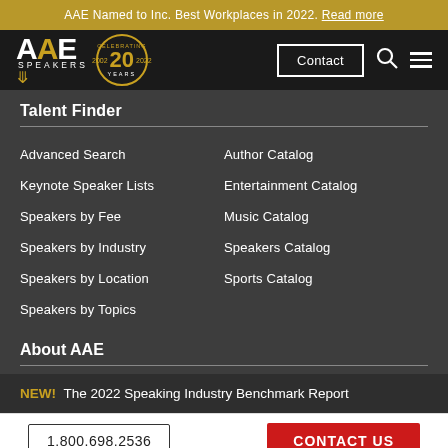AAE Named to Inc. Best Workplaces in 2022. Read more
[Figure (logo): AAE Speakers logo with 20 Years Celebrating badge, Contact button, search icon and menu icon on black navbar]
Talent Finder
Advanced Search
Author Catalog
Keynote Speaker Lists
Entertainment Catalog
Speakers by Fee
Music Catalog
Speakers by Industry
Speakers Catalog
Speakers by Location
Sports Catalog
Speakers by Topics
About AAE
NEW! The 2022 Speaking Industry Benchmark Report
1.800.698.2536  CONTACT US